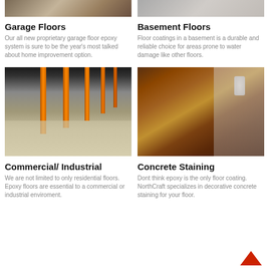[Figure (photo): Top-left partial photo of a granite/stone floor surface]
[Figure (photo): Top-right partial photo of a light-colored floor or surface]
Garage Floors
Our all new proprietary garage floor epoxy system is sure to be the year's most talked about home improvement option.
Basement Floors
Floor coatings in a basement is a durable and reliable choice for areas prone to water damage like other floors.
[Figure (photo): Industrial/commercial space interior with orange support columns and epoxy-coated grey floor]
[Figure (photo): Decorative concrete staining showing brown and golden mottled floor with white bucket]
Commercial/ Industrial
We are not limited to only residential floors. Epoxy floors are essential to a commercial or industrial enviroment.
Concrete Staining
Dont think epoxy is the only floor coating. NorthCraft specializes in decorative concrete staining for your floor.